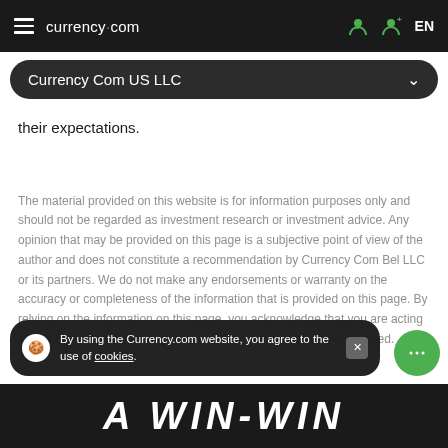currency.com | Currency Com US LLC | EN
their expectations.
The material provided on this website is for information purposes only and should not be regarded as investment research or investment advice. Any opinion that may be provided on this page is a subjective point of view of the author and does not constitute a recommendation by Currency Com Bel LLC or its partners. We do not make any endorsements or warranty on the accuracy or completeness of the information that is provided on this page. By relying on the information on this page, you acknowledge that you are acting knowingly and independently and that you accept all the risks involved.
By using the Currency.com website, you agree to the use of cookies.